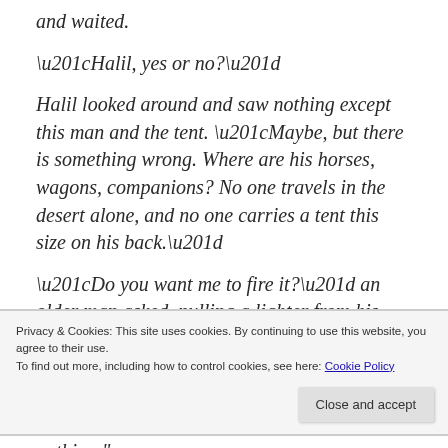and waited.
“Halil, yes or no?”
Halil looked around and saw nothing except this man and the tent. “Maybe, but there is something wrong. Where are his horses, wagons, companions? No one travels in the desert alone, and no one carries a tent this size on his back.”
“Do you want me to fire it?” an older man asked, pulling a lighter from his pocket.
Privacy & Cookies: This site uses cookies. By continuing to use this website, you agree to their use.
To find out more, including how to control cookies, see here: Cookie Policy
nothing.”